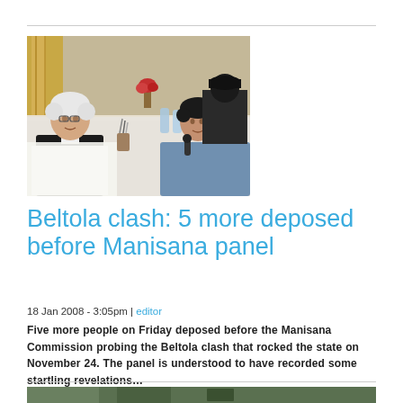[Figure (photo): Two men sitting at a table: an older man with white hair on the left reviewing documents, and a younger man on the right appearing to speak. A third person stands in the background. Indoor setting with curtains and flowers on the table.]
Beltola clash: 5 more deposed before Manisana panel
18 Jan 2008 - 3:05pm | editor
Five more people on Friday deposed before the Manisana Commission probing the Beltola clash that rocked the state on November 24. The panel is understood to have recorded some startling revelations…
[Figure (photo): Partial view of another news article photo at the bottom of the page, mostly cut off.]